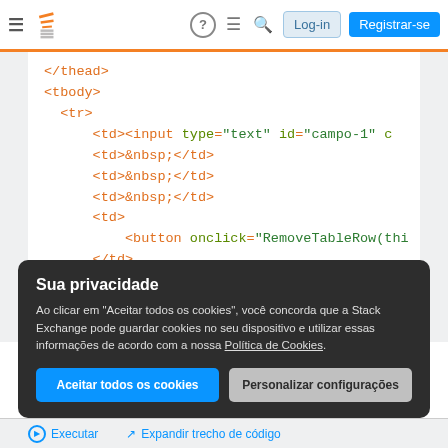Stack Overflow navigation bar with hamburger menu, logo, help, chat, search icons, Log-in and Registrar-se buttons
[Figure (screenshot): Code editor area showing HTML snippet with </thead>, <tbody>, <tr>, <td><input type="text" id="campo-1" ...>, <td>&nbsp;</td> repeated three times, <td> with <button onclick="RemoveTableRow(thi...", </td>, </tr>, </tbody>, <tfoot>, <tr> tags in orange and green monospace font on white background]
Sua privacidade
Ao clicar em "Aceitar todos os cookies", você concorda que a Stack Exchange pode guardar cookies no seu dispositivo e utilizar essas informações de acordo com a nossa Política de Cookies.
Aceitar todos os cookies
Personalizar configurações
Executar   Expandir trecho de código